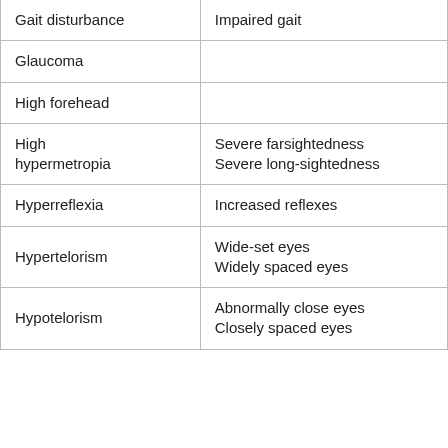| Term | Definition |
| --- | --- |
| Gait disturbance | Impaired gait |
| Glaucoma |  |
| High forehead |  |
| High hypermetropia | Severe farsightedness
Severe long-sightedness |
| Hyperreflexia | Increased reflexes |
| Hypertelorism | Wide-set eyes
Widely spaced eyes |
| Hypotelorism | Abnormally close eyes
Closely spaced eyes |